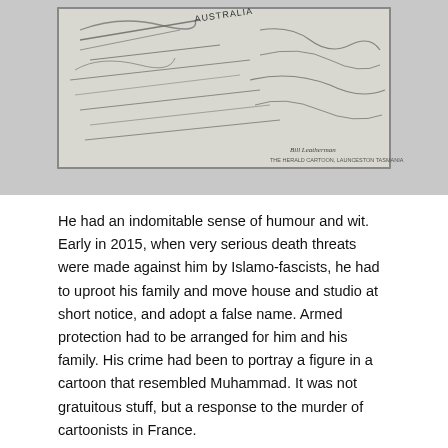[Figure (photo): A black and white pencil sketch or cartoon drawing, partially visible, with text 'AUSTRALIA' visible and a signature at the bottom right. The image appears to be a political cartoon framed or mounted.]
He had an indomitable sense of humour and wit. Early in 2015, when very serious death threats were made against him by Islamo-fascists, he had to uproot his family and move house and studio at short notice, and adopt a false name. Armed protection had to be arranged for him and his family. His crime had been to portray a figure in a cartoon that resembled Muhammad. It was not gratuitous stuff, but a response to the murder of cartoonists in France.
“Je suis Charlie’. Remember?
Bill’s response to me, in an email was:
“In much the same way that it takes a bit of time before you can laugh